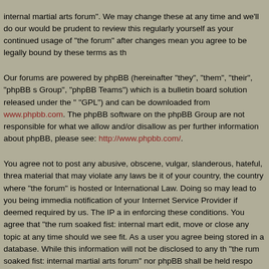internal martial arts forum". We may change these at any time and we'll do our would be prudent to review this regularly yourself as your continued usage of "the forum" after changes mean you agree to be legally bound by these terms as th
Our forums are powered by phpBB (hereinafter "they", "them", "their", "phpBB s Group", "phpBB Teams") which is a bulletin board solution released under the " "GPL") and can be downloaded from www.phpbb.com. The phpBB software on the phpBB Group are not responsible for what we allow and/or disallow as per further information about phpBB, please see: http://www.phpbb.com/.
You agree not to post any abusive, obscene, vulgar, slanderous, hateful, threa material that may violate any laws be it of your country, the country where "the forum" is hosted or International Law. Doing so may lead to you being immedia notification of your Internet Service Provider if deemed required by us. The IP a in enforcing these conditions. You agree that "the rum soaked fist: internal mart edit, move or close any topic at any time should we see fit. As a user you agree being stored in a database. While this information will not be disclosed to any th "the rum soaked fist: internal martial arts forum" nor phpBB shall be held respo lead to the data being compromised.
I agree to these terms | I do not agree to these
Board index • The team • Delete all
Powered by phpBB © 2000, 2002, 2005, 2007 phpBB